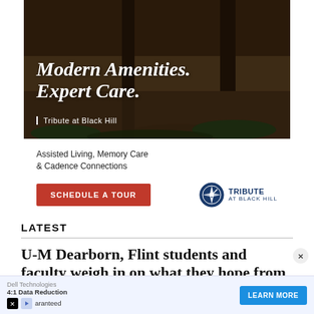[Figure (photo): Advertisement image for Tribute at Black Hill senior living facility showing outdoor garden area with dark overlay. White italic text reads 'Modern Amenities. Expert Care.' with subtext 'Tribute at Black Hill'.]
Assisted Living, Memory Care & Cadence Connections
SCHEDULE A TOUR
[Figure (logo): Tribute at Black Hill logo with circular compass-style icon in blue and a person silhouette, with text 'TRIBUTE AT BLACK HILL']
LATEST
U-M Dearborn, Flint students and faculty weigh in on what they hope from new UMich President Santa Ono
[Figure (infographic): Bottom advertisement bar for Dell Technologies showing '4:1 Data Reduction Guaranteed' with LEARN MORE button and X/play icons]